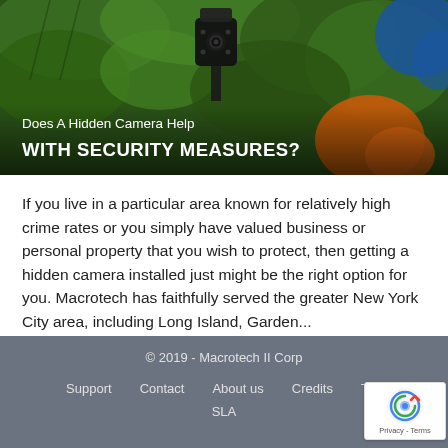[Figure (photo): A hidden security camera mounted outdoors among green leaves, with orange and blue blurred objects in background. Text overlay reads 'Does A Hidden Camera Help WITH SECURITY MEASURES?']
If you live in a particular area known for relatively high crime rates or you simply have valued business or personal property that you wish to protect, then getting a hidden camera installed just might be the right option for you. Macrotech has faithfully served the greater New York City area, including Long Island, Garden...
Read More
© 2019 - Macrotech II Corp
Support   Contact   About us   Credits   Too...
SLA